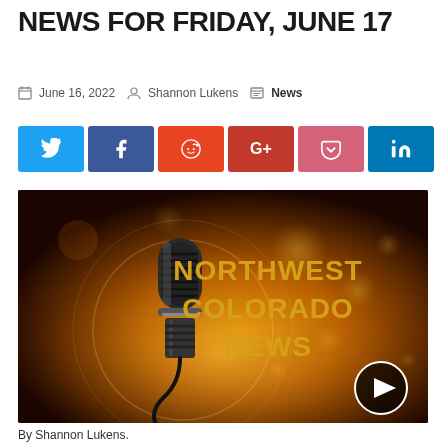NEWS FOR FRIDAY, JUNE 17
June 16, 2022  Shannon Lukens  News
[Figure (other): Social share buttons: Twitter (blue), Facebook (dark blue), Reddit (orange-red), Google+ (red), Pocket (pink-red), LinkedIn (blue)]
[Figure (screenshot): Northwest Colorado News video thumbnail — vintage microphone on amber/gold bokeh background with text 'NORTHWEST COLORADO NEWS' in gold, play button overlay in bottom right]
By Shannon Lukens.